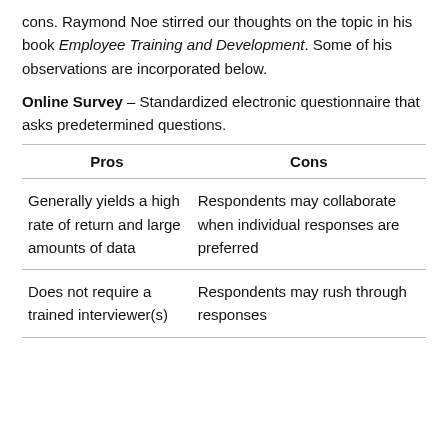cons. Raymond Noe stirred our thoughts on the topic in his book Employee Training and Development. Some of his observations are incorporated below.
Online Survey – Standardized electronic questionnaire that asks predetermined questions.
| Pros | Cons |
| --- | --- |
| Generally yields a high rate of return and large amounts of data | Respondents may collaborate when individual responses are preferred |
| Does not require a trained interviewer(s) | Respondents may rush through responses |